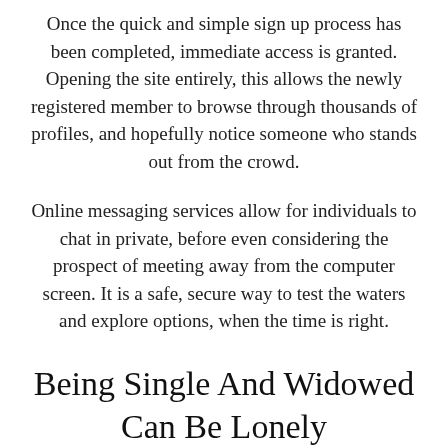Once the quick and simple sign up process has been completed, immediate access is granted. Opening the site entirely, this allows the newly registered member to browse through thousands of profiles, and hopefully notice someone who stands out from the crowd.
Online messaging services allow for individuals to chat in private, before even considering the prospect of meeting away from the computer screen. It is a safe, secure way to test the waters and explore options, when the time is right.
Being Single And Widowed Can Be Lonely